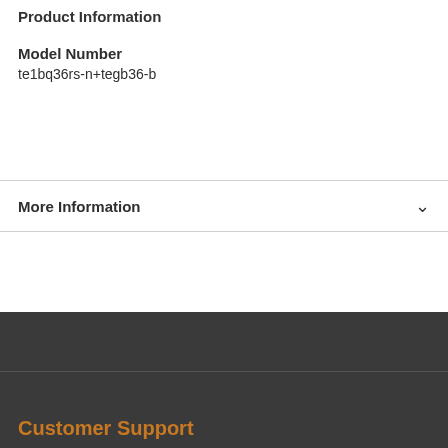Product Information
Model Number
te1bq36rs-n+tegb36-b
More Information
Customer Support